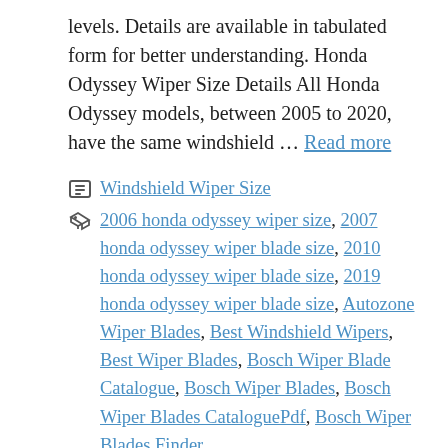levels. Details are available in tabulated form for better understanding. Honda Odyssey Wiper Size Details All Honda Odyssey models, between 2005 to 2020, have the same windshield … Read more
Windshield Wiper Size
2006 honda odyssey wiper size, 2007 honda odyssey wiper blade size, 2010 honda odyssey wiper blade size, 2019 honda odyssey wiper blade size, Autozone Wiper Blades, Best Windshield Wipers, Best Wiper Blades, Bosch Wiper Blade Catalogue, Bosch Wiper Blades, Bosch Wiper Blades CataloguePdf, Bosch Wiper Blades Finder,